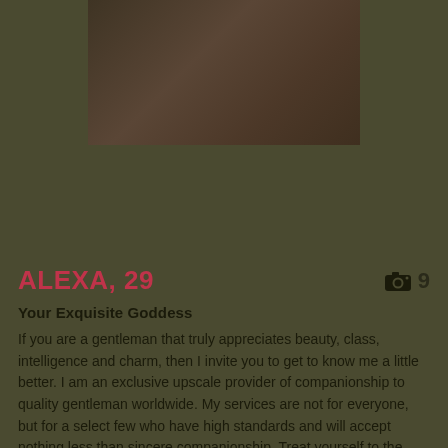[Figure (photo): Partial profile photo of a person, darkened/filtered, positioned at top center of the page]
ALEXA, 29
Your Exquisite Goddess
If you are a gentleman that truly appreciates beauty, class, intelligence and charm, then I invite you to get to know me a little better. I am an exclusive upscale provider of companionship to quality gentleman worldwide. My services are not for everyone, but for a select few who have high standards and will accept nothing less than sincere companionship. Treat yourself to the benefits..